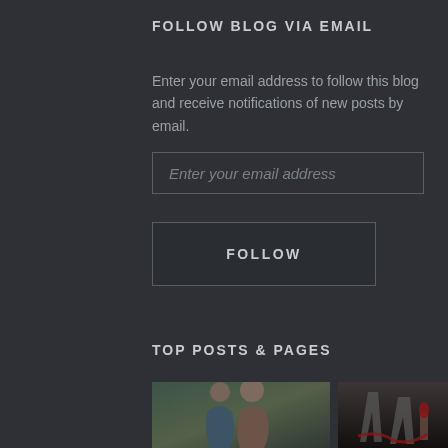FOLLOW BLOG VIA EMAIL
Enter your email address to follow this blog and receive notifications of new posts by email.
Enter your email address
FOLLOW
TOP POSTS & PAGES
[Figure (photo): Two people, a woman and a man, posed together in a close embrace. The woman is wearing a teal/blue dress.]
[Figure (photo): A dark image showing high heels and what appears to be a candle or torch with red elements.]